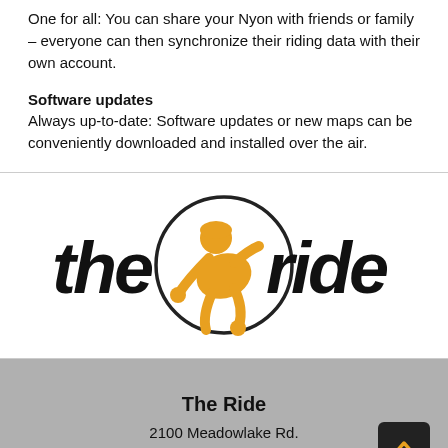One for all: You can share your Nyon with friends or family – everyone can then synchronize their riding data with their own account.
Software updates
Always up-to-date: Software updates or new maps can be conveniently downloaded and installed over the air.
[Figure (logo): The Ride logo: bold italic text 'the ride' with a circular emblem showing a cyclist figure in orange/yellow in the center]
The Ride
2100 Meadowlake Rd.
Conway, AR 72032